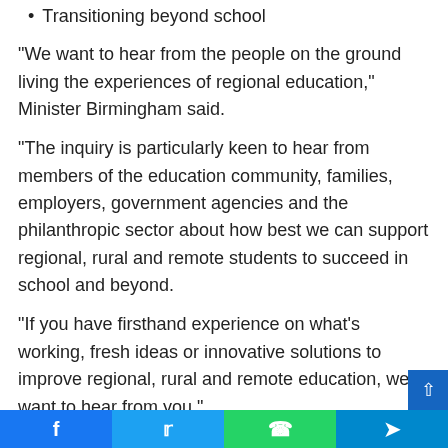Transitioning beyond school
“We want to hear from the people on the ground living the experiences of regional education,” Minister Birmingham said.
“The inquiry is particularly keen to hear from members of the education community, families, employers, government agencies and the philanthropic sector about how best we can support regional, rural and remote students to succeed in school and beyond.
“If you have firsthand experience on what’s working, fresh ideas or innovative solutions to improve regional, rural and remote education, we want to hear from you.”
Chair of the Senate Education Committee Bridget McKenzie
Facebook | Twitter | WhatsApp | Telegram